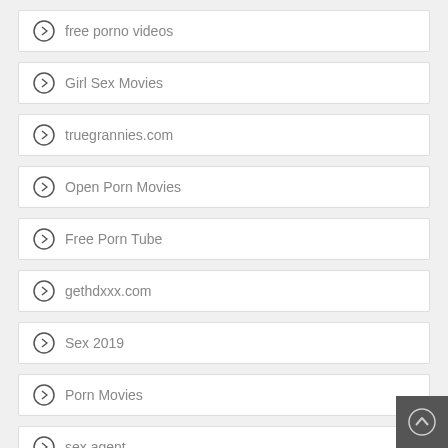free porno videos
Girl Sex Movies
truegrannies.com
Open Porn Movies
Free Porn Tube
gethdxxx.com
Sex 2019
Porn Movies
sex agent